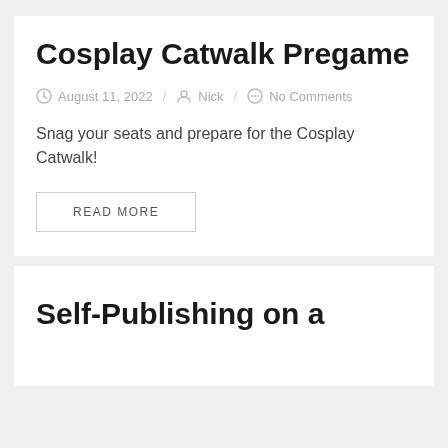Cosplay Catwalk Pregame
August 11, 2022 / Nick / No Comments
Snag your seats and prepare for the Cosplay Catwalk!
READ MORE
Self-Publishing on a Budget